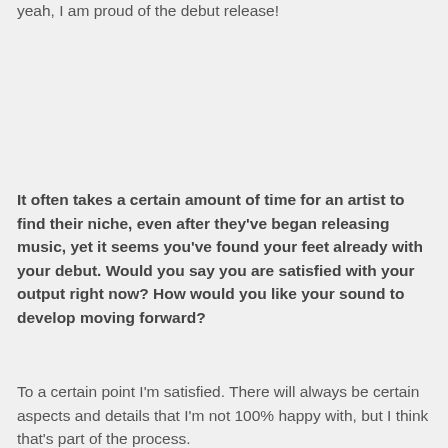yeah, I am proud of the debut release!
It often takes a certain amount of time for an artist to find their niche, even after they've began releasing music, yet it seems you've found your feet already with your debut. Would you say you are satisfied with your output right now? How would you like your sound to develop moving forward?
To a certain point I'm satisfied. There will always be certain aspects and details that I'm not 100% happy with, but I think that's part of the process.